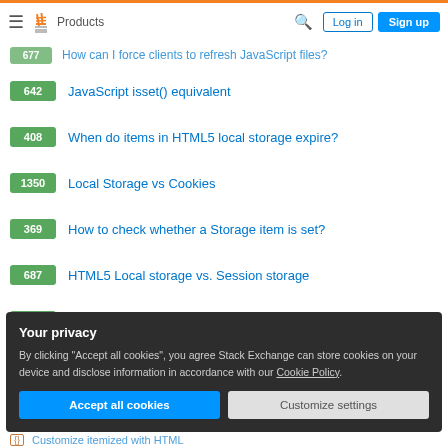[Figure (screenshot): Stack Overflow navigation bar with hamburger menu, logo, Products label, search icon, Log in button, and Sign up button]
677 How can I force clients to refresh JavaScript files?
642 JavaScript isset() equivalent
408 When do items in HTML5 local storage expire?
1350 Local Storage vs Cookies
369 How to check whether a Storage item is set?
687 HTML5 Local storage vs. Session storage
195 HTML5 Pre-resize images before uploading
27 Specify default value for HTML5 Local Storage item?
Your privacy
By clicking "Accept all cookies", you agree Stack Exchange can store cookies on your device and disclose information in accordance with our Cookie Policy.
Accept all cookies   Customize settings
Customize itemized with HTML